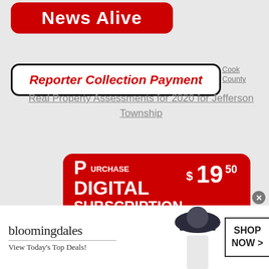[Figure (logo): News Alive logo — red rounded rectangle with white text 'News Alive']
[Figure (logo): Reporter Collection Payment button — white rounded rectangle with thick black border and red italic bold text 'Reporter Collection Payment']
Cook County Real Property Assessments for 2020 for Jefferson Township
[Figure (infographic): Red rounded rectangle ad banner: 'Purchase Digital $19.50 Subscription On Sale']
[Figure (infographic): Bloomingdale's ad: logo, 'View Today's Top Deals!', model with hat, 'SHOP NOW >' button]